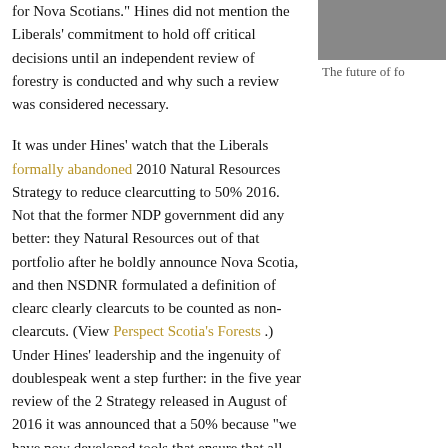for Nova Scotians.” Hines did not mention the Liberals’ commitment to hold off critical decisions until an independent review of forestry is conducted and why such a review was considered necessary.
[Figure (photo): Partial image of a forested or natural scene, cropped at top right of page]
The future of fo
It was under Hines’ watch that the Liberals formally abandoned 2010 Natural Resources Strategy to reduce clearcutting to 50% 2016. Not that the former NDP government did any better: they Natural Resources out of that portfolio after he boldly announce Nova Scotia, and then NSDNR formulated a definition of clearc clearly clearcuts to be counted as non-clearcuts. (View Perspect Scotia’s Forests .) Under Hines’ leadership and the ingenuity of doublespeak went a step further: in the five year review of the 2 Strategy released in August of 2016 it was announced that a 50% because “we have now developed tools that ensure that all harve nature-based requirements of Nova Scotia’s lands”. (View NSDN
Hines talks about SW Nova Scotia as our fibre basket and about